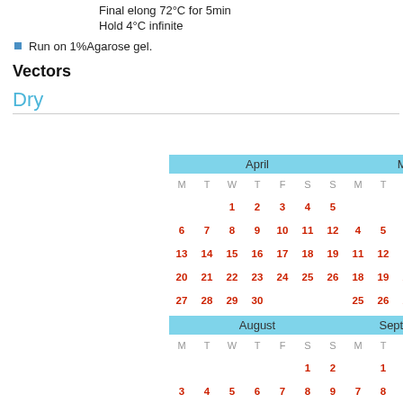Final elong 72°C for 5min
Hold 4°C infinite
Run on 1%Agarose gel.
Vectors
Dry
[Figure (other): Calendar grid showing April, May, August, and September months with dates arranged in M T W T F S S columns. Dates shown in red/crimson color for weekdays and weekends.]